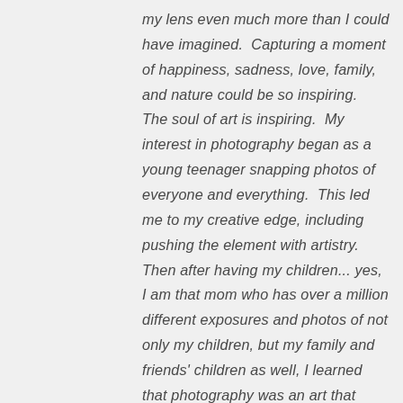my lens even much more than I could have imagined.  Capturing a moment of happiness, sadness, love, family, and nature could be so inspiring.  The soul of art is inspiring.  My interest in photography began as a young teenager snapping photos of everyone and everything.  This led me to my creative edge, including pushing the element with artistry.  Then after having my children... yes, I am that mom who has over a million different exposures and photos of not only my children, but my family and friends' children as well, I learned that photography was an art that captured much more than just an image.  I found a new love, I enjoyed pushing the limits with digital media.  Living on the coast of...